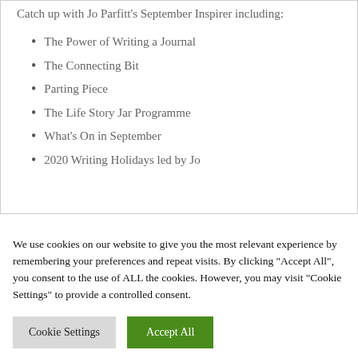Catch up with Jo Parfitt's September Inspirer including:
The Power of Writing a Journal
The Connecting Bit
Parting Piece
The Life Story Jar Programme
What's On in September
2020 Writing Holidays led by Jo
We use cookies on our website to give you the most relevant experience by remembering your preferences and repeat visits. By clicking "Accept All", you consent to the use of ALL the cookies. However, you may visit "Cookie Settings" to provide a controlled consent.
Cookie Settings
Accept All